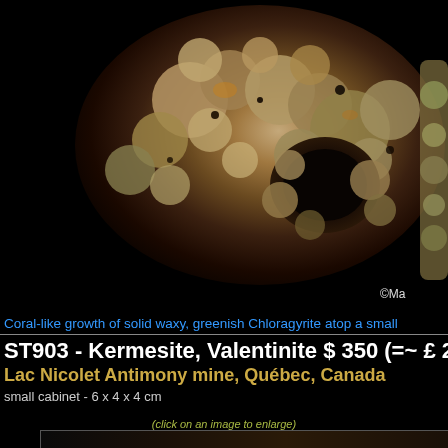[Figure (photo): Close-up photograph of a coral-like growth of solid waxy greenish Chloragyrite mineral specimen on a dark background, showing rough textured surface with cavities. Copyright watermark partially visible as ©Ma in bottom right corner.]
Coral-like growth of solid waxy, greenish Chloragyrite atop a small
ST903 - Kermesite, Valentinite $ 350 (=~ £ 2
Lac Nicolet Antimony mine, Québec, Canada
small cabinet - 6 x 4 x 4 cm
(click on an image to enlarge)
[Figure (photo): Bottom portion of a second mineral specimen photograph, partially visible, showing dark background with mineral specimen beginning to appear at bottom edge.]